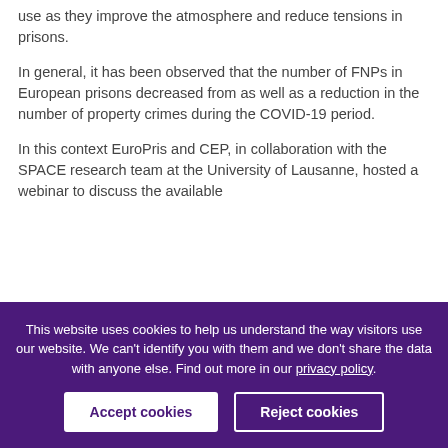use as they improve the atmosphere and reduce tensions in prisons.
In general, it has been observed that the number of FNPs in European prisons decreased from as well as a reduction in the number of property crimes during the COVID-19 period.
In this context EuroPris and CEP, in collaboration with the SPACE research team at the University of Lausanne, hosted a webinar to discuss the available
This website uses cookies to help us understand the way visitors use our website. We can't identify you with them and we don't share the data with anyone else. Find out more in our privacy policy.
Accept cookies
Reject cookies